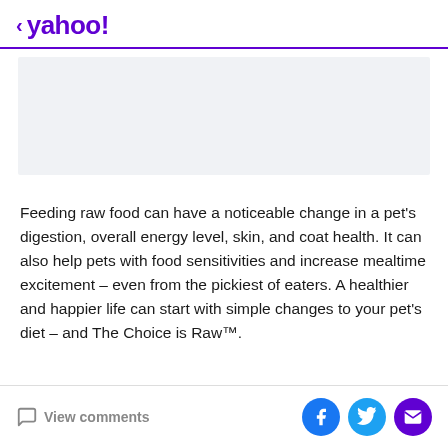< yahoo!
[Figure (other): Advertisement placeholder area with light gray background]
Feeding raw food can have a noticeable change in a pet's digestion, overall energy level, skin, and coat health. It can also help pets with food sensitivities and increase mealtime excitement – even from the pickiest of eaters. A healthier and happier life can start with simple changes to your pet's diet – and The Choice is Raw™.
View comments | Facebook | Twitter | Mail